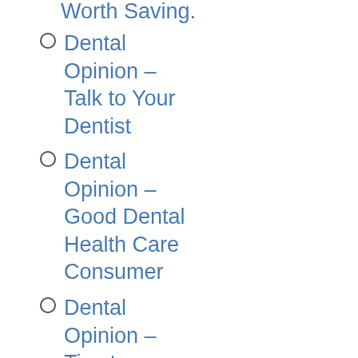Why They are Worth Saving.
Dental Opinion – Talk to Your Dentist
Dental Opinion – Good Dental Health Care Consumer
Dental Opinion – Tips to Keeping Your Dental Care Cost Low.
Dental Opinion – Stopping Tooth Decay and Preventing Cavities from Forming